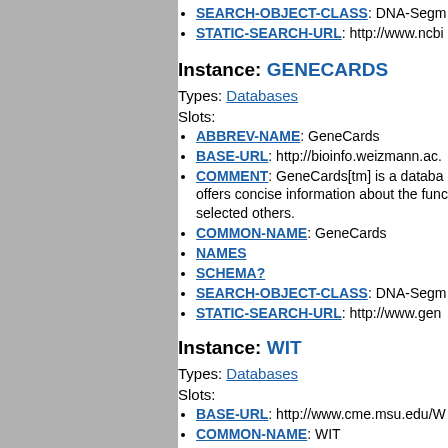SEARCH-OBJECT-CLASS: DNA-Segm...
STATIC-SEARCH-URL: http://www.ncbi...
Instance: GENECARDS
Types: Databases
Slots:
ABBREV-NAME: GeneCards
BASE-URL: http://bioinfo.weizmann.ac...
COMMENT: GeneCards[tm] is a databa... offers concise information about the func... selected others.
COMMON-NAME: GeneCards
NAMES
SCHEMA?
SEARCH-OBJECT-CLASS: DNA-Segm...
STATIC-SEARCH-URL: http://www.gen...
Instance: WIT
Types: Databases
Slots:
BASE-URL: http://www.cme.msu.edu/W...
COMMON-NAME: WIT
NAMES